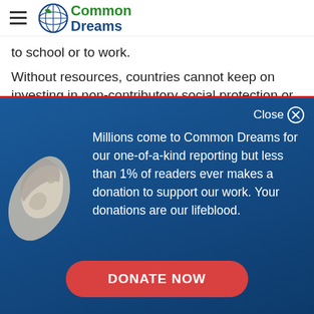Common Dreams
to school or to work.
Without resources, countries cannot keep on investing in non-contributory social protection or social
Close
Millions come to Common Dreams for our one-of-a-kind reporting but less than 1% of readers ever makes a donation to support our work. Your donations are our lifeblood.
DONATE NOW